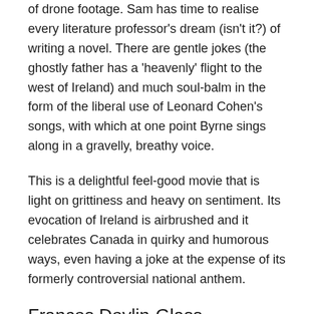of drone footage. Sam has time to realise every literature professor's dream (isn't it?) of writing a novel. There are gentle jokes (the ghostly father has a 'heavenly' flight to the west of Ireland) and much soul-balm in the form of the liberal use of Leonard Cohen's songs, with which at one point Byrne sings along in a gravelly, breathy voice.
This is a delightful feel-good movie that is light on grittiness and heavy on sentiment. Its evocation of Ireland is airbrushed and it celebrates Canada in quirky and humorous ways, even having a joke at the expense of its formerly controversial national anthem.
Frances Devlin-Glass
Frances is a member of the Tinteán editorial collective.